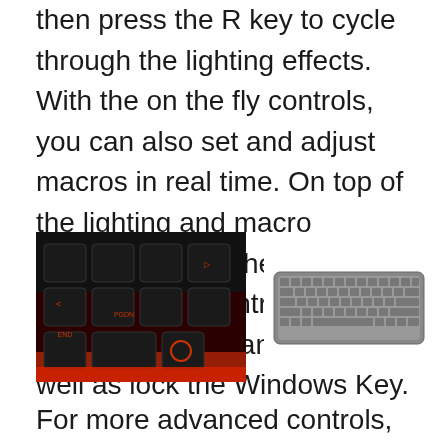then press the R key to cycle through the lighting effects. With the on the fly controls, you can also set and adjust macros in real time. On top of the lighting and macro controls, the on the fly system allows you to control the volume controls and mute, as well as lock the Windows Key.
[Figure (photo): Close-up photo of a mechanical gaming keyboard with red backlighting, showing dark keys with symbols including END, PGDN visible.]
[Figure (photo): Photo of a compact tenkeyless keyboard with gray keycaps on a white background, showing a 60% or 65% form factor keyboard.]
For more advanced controls, SK621 is also supported by the Cooler Master Portal software. The